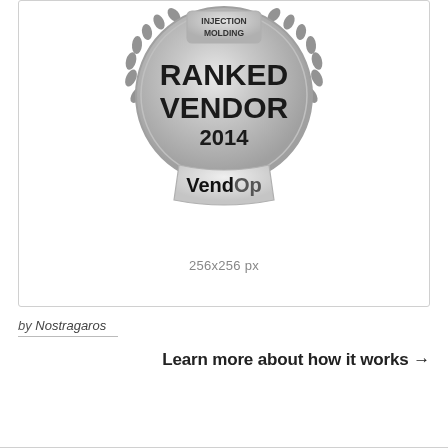[Figure (logo): VendOp Injection Molding Ranked Vendor 2014 silver medal badge with laurel wreath]
256x256 px
by Nostragaros
Learn more about how it works →